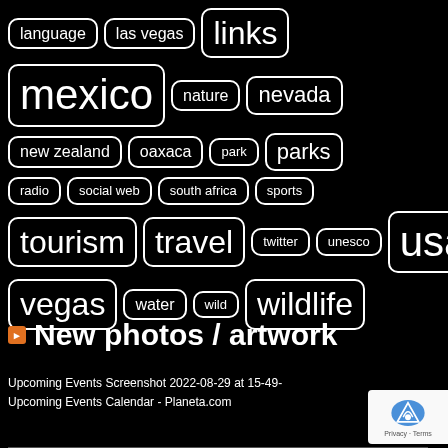[Figure (infographic): Tag cloud with bordered rounded rectangle tags on black background. Row 1: language, las vegas, links (large). Row 2: mexico (xlarge), nature, nevada. Row 3: new zealand, oaxaca, park, parks (large). Row 4: radio, social web, south africa, sports. Row 5: tourism (large), travel (large), twitter, unesco, usa (xlarge). Row 6: vegas (large), water, wild, wildlife (large).]
New photos / artwork
Upcoming Events Screenshot 2022-08-29 at 15-49-
Upcoming Events Calendar - Planeta.com